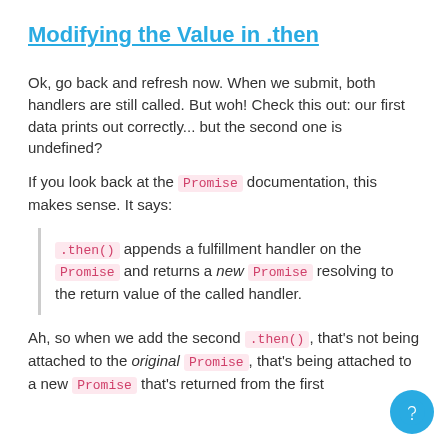Modifying the Value in .then
Ok, go back and refresh now. When we submit, both handlers are still called. But woh! Check this out: our first data prints out correctly... but the second one is undefined?
If you look back at the Promise documentation, this makes sense. It says:
.then() appends a fulfillment handler on the Promise and returns a new Promise resolving to the return value of the called handler.
Ah, so when we add the second .then(), that's not being attached to the original Promise, that's being attached to a new Promise that's returned from the first